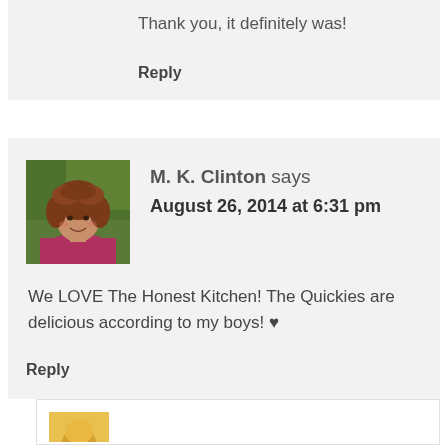Thank you, it definitely was!
Reply
M. K. Clinton says
August 26, 2014 at 6:31 pm
We LOVE The Honest Kitchen! The Quickies are delicious according to my boys! ♥
Reply
[Figure (photo): Profile photo of M. K. Clinton, a woman with curly reddish-brown hair wearing a pink/magenta top, outdoors with blurred green background]